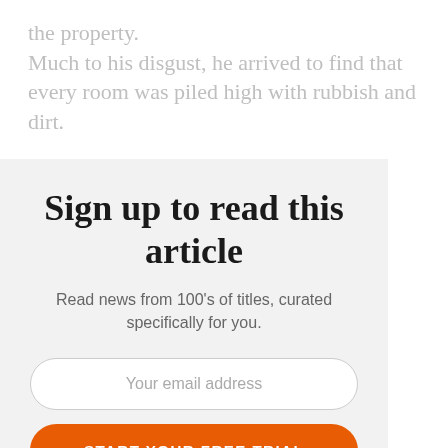the property.
Much to his disgust, he arrived to find that every room was piled high with rubbish and dirt.
Sign up to read this article
Read news from 100's of titles, curated specifically for you.
Your email address
START YOUR FREE TRIAL